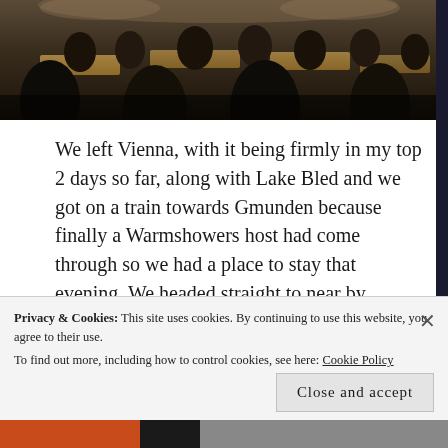[Figure (photo): Dark indoor photo showing people seated at tables viewed from behind, in a large hall or event space.]
We left Vienna, with it being firmly in my top 2 days so far, along with Lake Bled and we got on a train towards Gmunden because finally a Warmshowers host had come through so we had a place to stay that evening. We headed straight to near by Traunsee and I was back in my element, surrounded by beautiful mountains and still clear lakes. Then we went to meet our host, Roland and his family. They greeted us at their beautiful home and couldn't have been a nicer family. They took our bikes and
Privacy & Cookies: This site uses cookies. By continuing to use this website, you agree to their use.
To find out more, including how to control cookies, see here: Cookie Policy
Close and accept